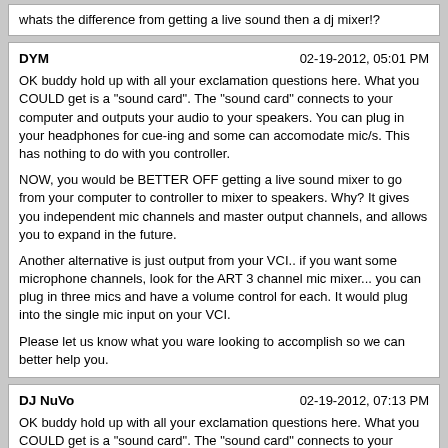whats the difference from getting a live sound then a dj mixer!?
DYM	02-19-2012, 05:01 PM
OK buddy hold up with all your exclamation questions here. What you COULD get is a "sound card". The "sound card" connects to your computer and outputs your audio to your speakers. You can plug in your headphones for cue-ing and some can accomodate mic/s. This has nothing to do with you controller.

NOW, you would be BETTER OFF getting a live sound mixer to go from your computer to controller to mixer to speakers. Why? It gives you independent mic channels and master output channels, and allows you to expand in the future.

Another alternative is just output from your VCI.. if you want some microphone channels, look for the ART 3 channel mic mixer... you can plug in three mics and have a volume control for each. It would plug into the single mic input on your VCI.

Please let us know what you ware looking to accomplish so we can better help you.
DJ NuVo	02-19-2012, 07:13 PM
OK buddy hold up with all your exclamation questions here. What you COULD get is a "sound card". The "sound card" connects to your computer and outputs your audio to your speakers. You can plug in your headphones for cue-ing and some can accomodate mic/s. This has nothing to do with you controller.

NOW, you would be BETTER OFF getting a live sound mixer to go from your computer to controller to mixer to speakers. Why? It gives you independent mic channels and master output channels, and allows you to expand in the future.

Another alternative is just output from your VCI.. if you want some microphone channels, look for the ART 3 channel mic mixer... you can plug in three mics and have a volume control for each. It would plug into the single mic input on your VCI.